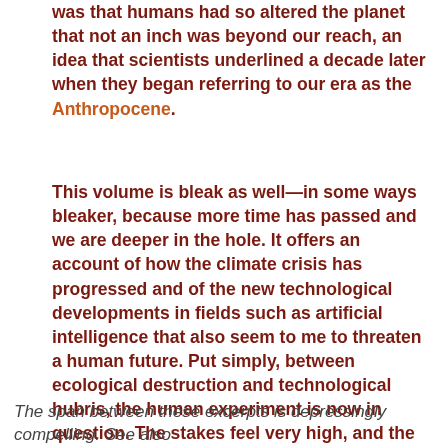was that humans had so altered the planet that not an inch was beyond our reach, an idea that scientists underlined a decade later when they began referring to our era as the Anthropocene.
This volume is bleak as well—in some ways bleaker, because more time has passed and we are deeper in the hole. It offers an account of how the climate crisis has progressed and of the new technological developments in fields such as artificial intelligence that also seem to me to threaten a human future. Put simply, between ecological destruction and technological hubris, the human experiment is now in question. The stakes feel very high, and the odds very long, and the trends very ominous. So, I have no doubt that there are other books that would offer readers a merrier literary experience. [ibid, pg. 1]
The span between these excerpts is depressingly compelling. See also